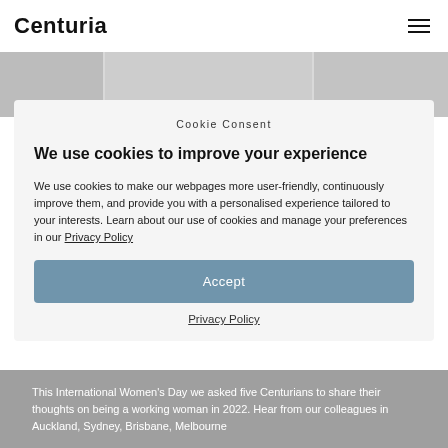Centuria
[Figure (photo): Black and white photo strip showing partial faces/portraits of multiple people side by side]
Cookie Consent
We use cookies to improve your experience
We use cookies to make our webpages more user-friendly, continuously improve them, and provide you with a personalised experience tailored to your interests. Learn about our use of cookies and manage your preferences in our Privacy Policy
Accept
Privacy Policy
This International Women's Day we asked five Centurians to share their thoughts on being a working woman in 2022. Hear from our colleagues in Auckland, Sydney, Brisbane, Melbourne